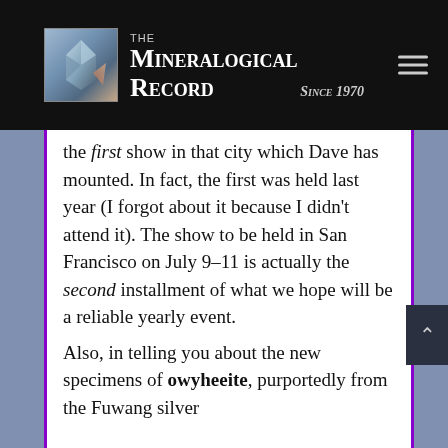THE Mineralogical Record Since 1970
the first show in that city which Dave has mounted. In fact, the first was held last year (I forgot about it because I didn't attend it). The show to be held in San Francisco on July 9–11 is actually the second installment of what we hope will be a reliable yearly event.
Also, in telling you about the new specimens of owyheeite, purportedly from the Fuwang silver